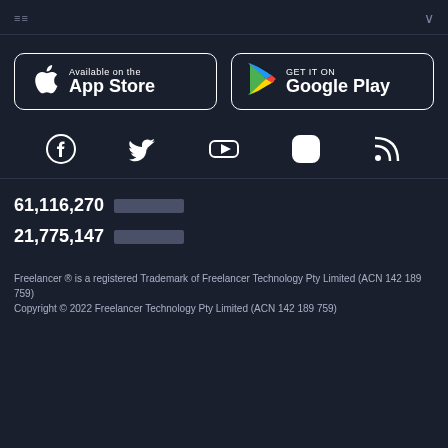≡≡  ∨
[Figure (logo): App Store and Google Play download buttons side by side]
[Figure (infographic): Social media icons: Facebook, Twitter, YouTube, Instagram, RSS]
61,116,270 [redacted]
21,775,147 [redacted]
Freelancer ® is a registered Trademark of Freelancer Technology Pty Limited (ACN 142 189 759)
Copyright © 2022 Freelancer Technology Pty Limited (ACN 142 189 759)